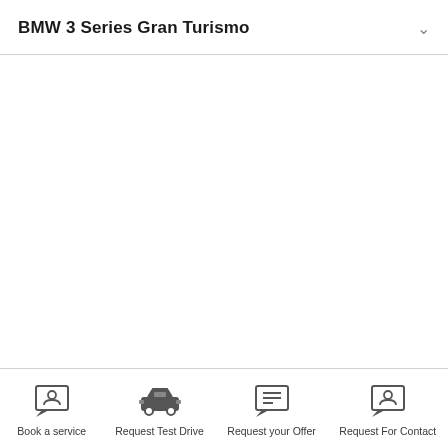BMW 3 Series Gran Turismo
[Figure (other): Empty white content area below the header]
Book a service  Request Test Drive  Request your Offer  Request For Contact